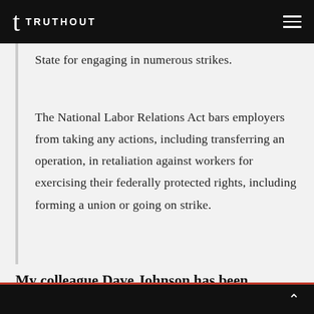TRUTHOUT
State for engaging in numerous strikes.
The National Labor Relations Act bars employers from taking any actions, including transferring an operation, in retaliation against workers for exercising their federally protected rights, including forming a union or going on strike.
My colleague Dave Johnson has been following